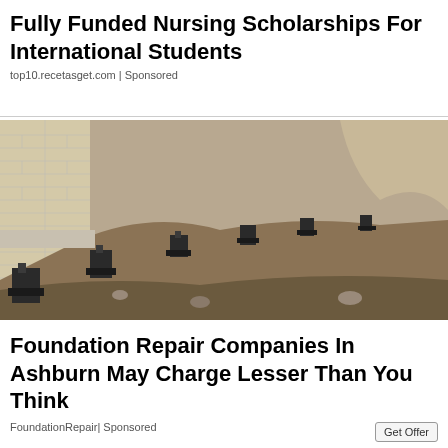Fully Funded Nursing Scholarships For International Students
top10.recetasget.com | Sponsored
[Figure (photo): Construction photo showing foundation repair work along a brick wall, with multiple black metal pier brackets installed at the base of the wall along an excavated trench.]
Foundation Repair Companies In Ashburn May Charge Lesser Than You Think
FoundationRepair| Sponsored
Get Offer